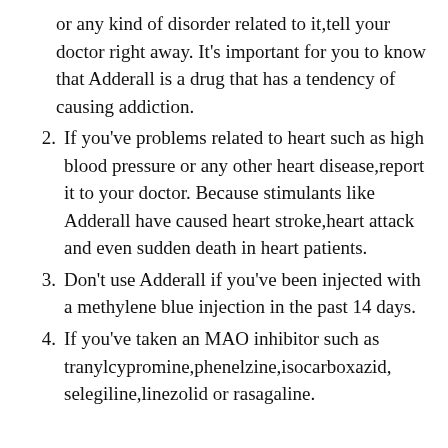or any kind of disorder related to it, tell your doctor right away. It's important for you to know that Adderall is a drug that has a tendency of causing addiction.
2. If you've problems related to heart such as high blood pressure or any other heart disease,report it to your doctor. Because stimulants like Adderall have caused heart stroke,heart attack and even sudden death in heart patients.
3. Don't use Adderall if you've been injected with a methylene blue injection in the past 14 days.
4. If you've taken an MAO inhibitor such as tranylcypromine,phenelzine,isocarboxazid, selegiline,linezolid or rasagaline.